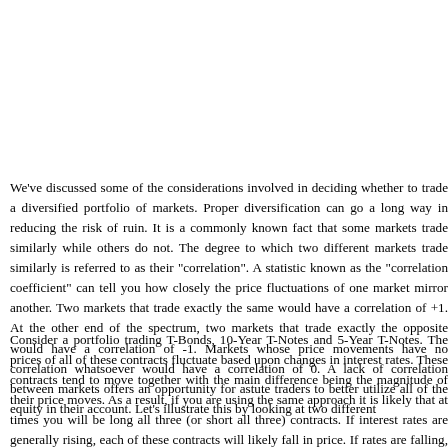We've discussed some of the considerations involved in deciding whether to trade a diversified portfolio of markets. Proper diversification can go a long way in reducing the risk of ruin. It is a commonly known fact that some markets trade similarly while others do not. The degree to which two different markets trade similarly is referred to as their "correlation". A statistic known as the "correlation coefficient" can tell you how closely the price fluctuations of one market mirror another. Two markets that trade exactly the same would have a correlation of +1. At the other end of the spectrum, two markets that trade exactly the opposite would have a correlation of -1. Markets whose price movements have no correlation whatsoever would have a correlation of 0. A lack of correlation between markets offers an opportunity for astute traders to better utilize all of the equity in their account. Let's illustrate this by looking at two different
Consider a portfolio trading T-Bonds, 10-Year T-Notes and 5-Year T-Notes. The prices of all of these contracts fluctuate based upon changes in interest rates. These contracts tend to move together with the main difference being the magnitude of their price moves. As a result, if you are using the same approach it is likely that at times you will be long all three (or short all three) contracts. If interest rates are generally rising, each of these contracts will likely fall in price. If rates are falling, each of these contracts will likely rise in price. As a result, when you are right on the market you will certainly score some big gains. However, if you are long